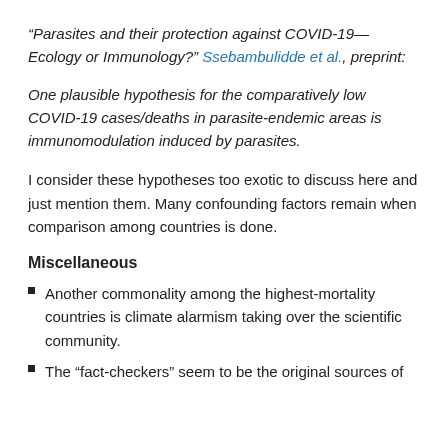“Parasites and their protection against COVID-19—Ecology or Immunology?” Ssebambulidde et al., preprint:
One plausible hypothesis for the comparatively low COVID-19 cases/deaths in parasite-endemic areas is immunomodulation induced by parasites.
I consider these hypotheses too exotic to discuss here and just mention them. Many confounding factors remain when comparison among countries is done.
Miscellaneous
Another commonality among the highest-mortality countries is climate alarmism taking over the scientific community.
The “fact-checkers” seem to be the original sources of